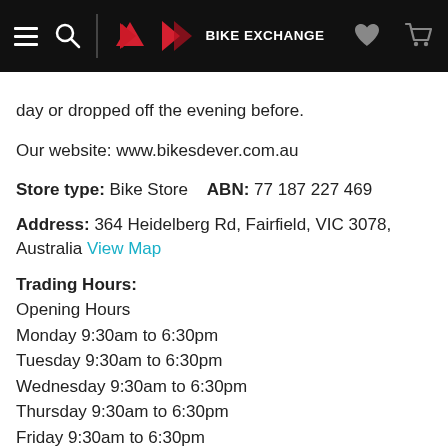BikeExchange navigation bar
day or dropped off the evening before.
Our website: www.bikesdever.com.au
Store type: Bike Store   ABN: 77 187 227 469
Address: 364 Heidelberg Rd, Fairfield, VIC 3078, Australia View Map
Trading Hours:
Opening Hours
Monday 9:30am to 6:30pm
Tuesday 9:30am to 6:30pm
Wednesday 9:30am to 6:30pm
Thursday 9:30am to 6:30pm
Friday 9:30am to 6:30pm
Saturday 9:30am to 5:30pm
Sunday 9:30am to 5:30pm
Closed on Public Holidays